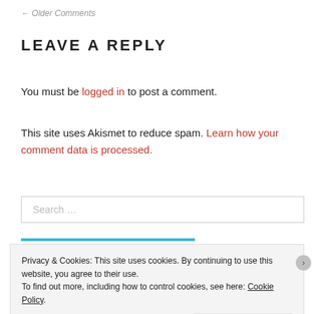← Older Comments
LEAVE A REPLY
You must be logged in to post a comment.
This site uses Akismet to reduce spam. Learn how your comment data is processed.
Search …
Privacy & Cookies: This site uses cookies. By continuing to use this website, you agree to their use.
To find out more, including how to control cookies, see here: Cookie Policy
Close and accept